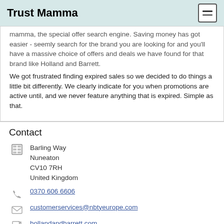Trust Mamma
mamma, the special offer search engine. Saving money has got easier - seemly search for the brand you are looking for and you'll have a massive choice of offers and deals we have found for that brand like Holland and Barrett.
We got frustrated finding expired sales so we decided to do things a little bit differently. We clearly indicate for you when promotions are active until, and we never feature anything that is expired. Simple as that.
Contact
Barling Way
Nuneaton
CV10 7RH
United Kingdom
0370 606 6606
customerservices@nbtyeurope.com
hollandandbarrett.com